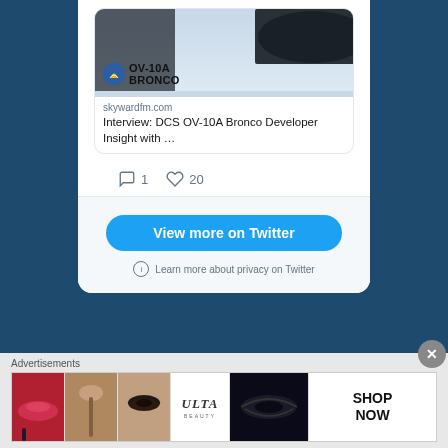[Figure (screenshot): OV-10A Bronco aircraft link preview card with helicopter silhouette image. Shows skywardfm.com domain and article title 'Interview: DCS OV-10A Bronco Developer Insight with ...']
1  20
View more on Twitter
Learn more about privacy on Twitter
Advertisements
[Figure (photo): ULTA beauty advertisement strip showing lips, makeup brush, eyes, ULTA logo, smoky eyes, and SHOP NOW text]